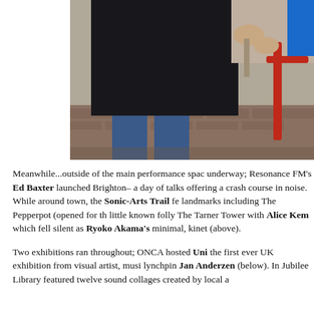[Figure (photo): Outdoor photo showing a person in a dark jacket and blue jeans on a brick pavement, holding or adjusting something. A red bicycle and blue object are partially visible to the right.]
Meanwhile...outside of the main performance space, underway; Resonance FM's Ed Baxter launched Brighton– a day of talks offering a crash course in noise. While around town, the Sonic-Arts Trail fe landmarks including The Pepperpot (opened for th little known folly The Tarner Tower with Alice Kem which fell silent as Ryoko Akama's minimal, kinet (above).
Two exhibitions ran throughout; ONCA hosted Uni the first ever UK exhibition from visual artist, musi lynchpin Jan Anderzen (below). In Jubilee Library featured twelve sound collages created by local a